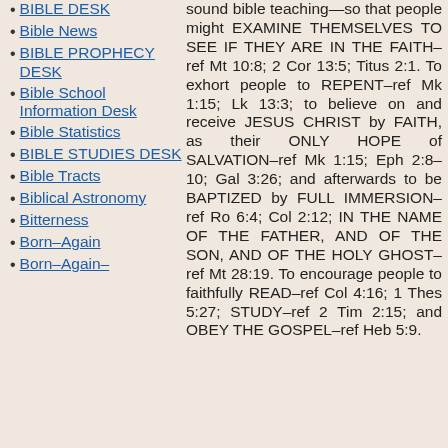BIBLE DESK
Bible News
BIBLE PROPHECY DESK
Bible School Information Desk
Bible Statistics
BIBLE STUDIES DESK
Bible Tracts
Biblical Astronomy
Bitterness
Born–Again
Born–Again–
sound bible teaching—so that people might EXAMINE THEMSELVES TO SEE IF THEY ARE IN THE FAITH–ref Mt 10:8; 2 Cor 13:5; Titus 2:1. To exhort people to REPENT–ref Mk 1:15; Lk 13:3; to believe on and receive JESUS CHRIST by FAITH, as their ONLY HOPE of SALVATION–ref Mk 1:15; Eph 2:8–10; Gal 3:26; and afterwards to be BAPTIZED by FULL IMMERSION–ref Ro 6:4; Col 2:12; IN THE NAME OF THE FATHER, AND OF THE SON, AND OF THE HOLY GHOST–ref Mt 28:19. To encourage people to faithfully READ–ref Col 4:16; 1 Thes 5:27; STUDY–ref 2 Tim 2:15; and OBEY THE GOSPEL–ref Heb 5:9.